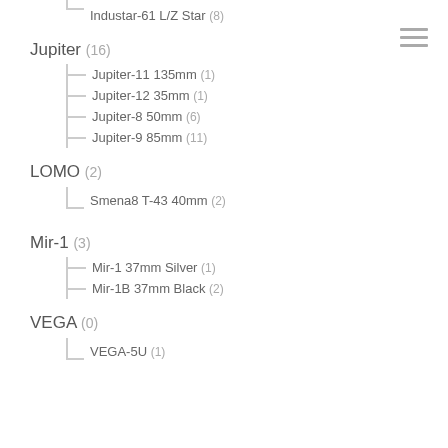Industar-61 L/Z Star (8)
Jupiter (16)
Jupiter-11 135mm (1)
Jupiter-12 35mm (1)
Jupiter-8 50mm (6)
Jupiter-9 85mm (11)
LOMO (2)
Smena8 T-43 40mm (2)
Mir-1 (3)
Mir-1 37mm Silver (1)
Mir-1B 37mm Black (2)
VEGA (0)
VEGA-5U (1)